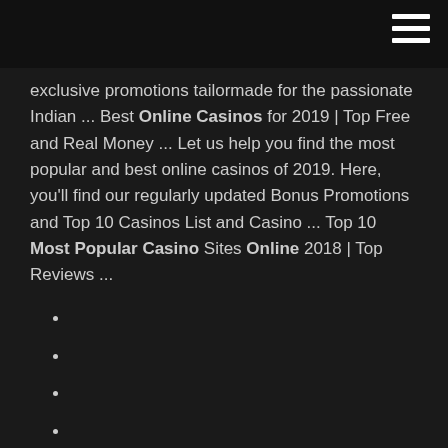exclusive promotions tailormade for the passionate Indian ... Best Online Casinos for 2019 | Top Free and Real Money ... Let us help you find the most popular and best online casinos of 2019. Here, you'll find our regularly updated Bonus Promotions and Top 10 Casinos List and Casino ... Top 10 Most Popular Casino Sites Online 2018 | Top Reviews ...
Cleopatra gold free slot games